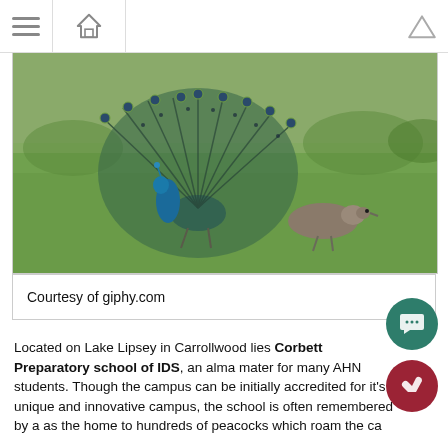[Figure (photo): A peacock displaying its tail feathers on a green lawn, with a smaller bird nearby. Photo set outdoors in a park or school campus setting.]
Courtesy of giphy.com
Located on Lake Lipsey in Carrollwood lies Corbett Preparatory school of IDS, an alma mater for many AHN students. Though the campus can be initially accredited for it's unique and innovative campus, the school is often remembered by a as the home to hundreds of peacocks which roam the ca
Senior Haley Schumann says, " I have grown up with pea so they are so normal for me. They are really pretty, but a